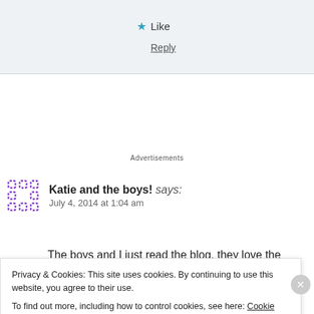★ Like
Reply
Advertisements
Katie and the boys! says:
July 4, 2014 at 1:04 am
The boys and I just read the blog, they love the Quokka
Privacy & Cookies: This site uses cookies. By continuing to use this website, you agree to their use.
To find out more, including how to control cookies, see here: Cookie Policy
Close and accept